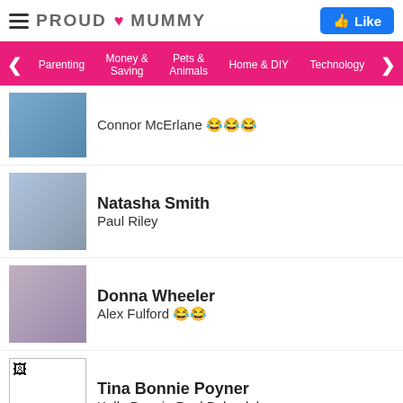PROUD MUMMY
Connor McErlane 😂😂😂
Natasha Smith
Paul Riley
Donna Wheeler
Alex Fulford 😂😂
Tina Bonnie Poyner
Kelly Bonnie Paul Baker lol
Siân Nicola Evans
Milan Maodus
Amy V Hooper